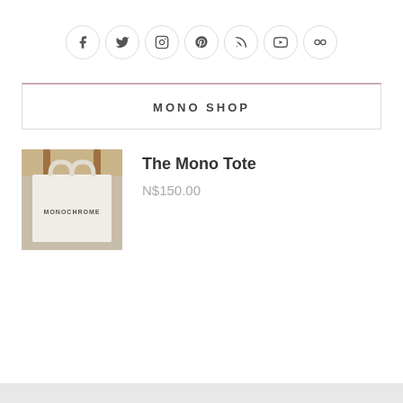[Figure (infographic): Row of 7 social media icon circles: Facebook, Twitter, Instagram, Pinterest, RSS, YouTube, Flickr]
MONO SHOP
[Figure (photo): Photo of a white canvas tote bag with MONOCHROME text printed on it, hanging on wooden pegs]
The Mono Tote
N$150.00